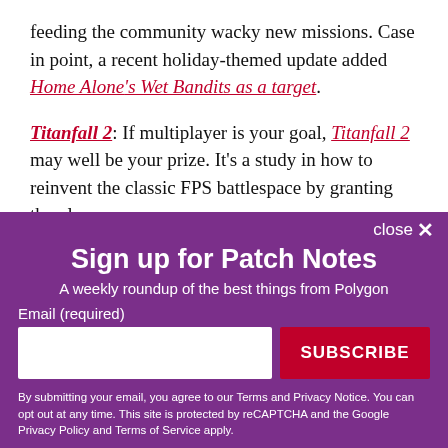feeding the community wacky new missions. Case in point, a recent holiday-themed update added Home Alone's Wet Bandits as a target.
Titanfall 2: If multiplayer is your goal, Titanfall 2 may well be your prize. It's a study in how to reinvent the classic FPS battlespace by granting the player new
[Figure (screenshot): Newsletter signup modal overlay with purple background. Title: 'Sign up for Patch Notes'. Subtitle: 'A weekly roundup of the best things from Polygon'. Email input field and SUBSCRIBE button. Disclaimer text about Terms and Privacy Notice.]